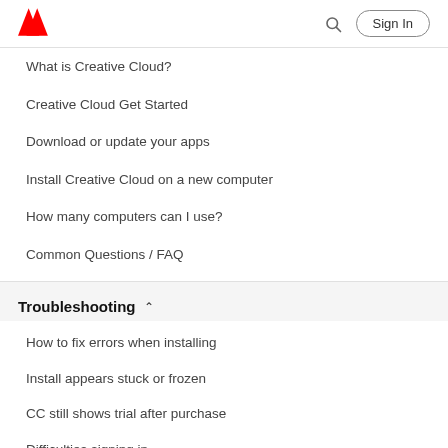Adobe | Sign In
What is Creative Cloud?
Creative Cloud Get Started
Download or update your apps
Install Creative Cloud on a new computer
How many computers can I use?
Common Questions / FAQ
Troubleshooting
How to fix errors when installing
Install appears stuck or frozen
CC still shows trial after purchase
Difficulties signing in
Unable to reach Adobe Servers